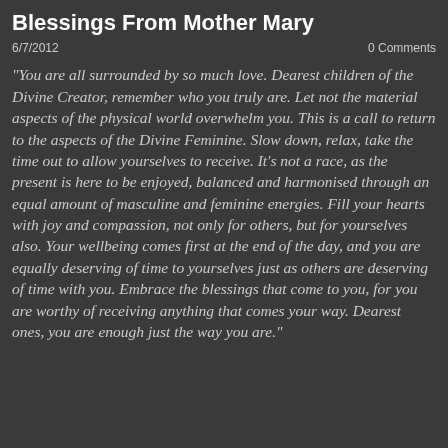Blessings From Mother Mary
6/7/2012
0 Comments
"You are all surrounded by so much love. Dearest children of the Divine Creator, remember who you truly are. Let not the material aspects of the physical world overwhelm you. This is a call to return to the aspects of the Divine Feminine. Slow down, relax, take the time out to allow yourselves to receive. It's not a race, as the present is here to be enjoyed, balanced and harmonised through an equal amount of masculine and feminine energies. Fill your hearts with joy and compassion, not only for others, but for yourselves also. Your wellbeing comes first at the end of the day, and you are equally deserving of time to yourselves just as others are deserving of time with you. Embrace the blessings that come to you, for you are worthy of receiving anything that comes your way. Dearest ones, you are enough just the way you are."